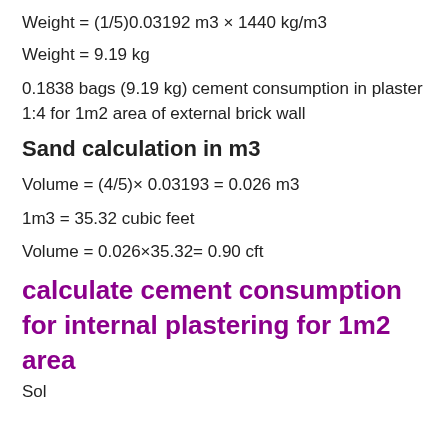Weight = 9.19 kg
0.1838 bags (9.19 kg) cement consumption in plaster 1:4 for 1m2 area of external brick wall
Sand calculation in m3
1m3 = 35.32 cubic feet
calculate cement consumption for internal plastering for 1m2 area
Sol